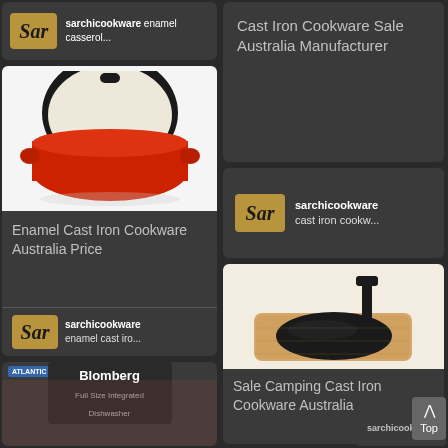[Figure (screenshot): Partial card showing sarchicookware enamel casserol... with Sar logo footer]
[Figure (screenshot): Card showing Cast Iron Cookware Sale Australia Manufacturer text]
[Figure (photo): Red enamel cast iron dutch oven/casserole with lid open, white interior]
Enamel Cast Iron Cookware Australia Price
[Figure (screenshot): Footer with Sar logo and text: sarchicookware enamel cast iro...]
[Figure (screenshot): Card with Sar logo and text: sarchicookware cast iron cookw...]
[Figure (photo): Black cast iron oval sizzler pan on wooden board with handle]
Sale Camping Cast Iron Cookware Australia
[Figure (screenshot): Partial card showing Atlantic/Blomberg dishwasher advertisement]
[Figure (screenshot): Partial card showing sarchicookware footer at bottom right]